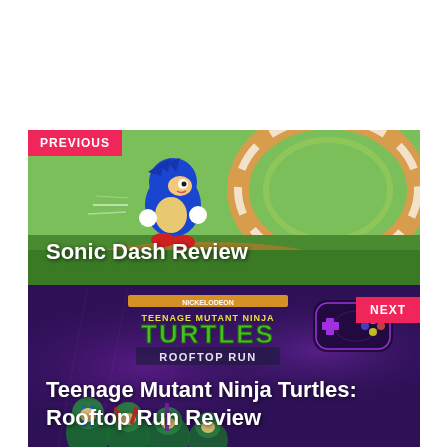[Figure (screenshot): PREVIOUS navigation card showing Sonic Dash game screenshot with Sonic the Hedgehog character on a green and orange loop track]
Sonic Dash Review
[Figure (screenshot): NEXT navigation card showing Teenage Mutant Ninja Turtles: Rooftop Run game screenshot with purple background and TMNT characters]
Teenage Mutant Ninja Turtles: Rooftop Run Review